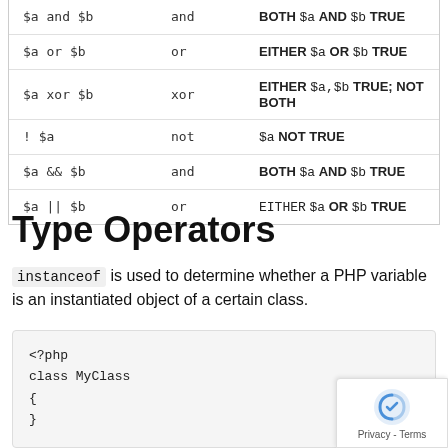| Example | Name | Result |
| --- | --- | --- |
| $a and $b | and | BOTH $a AND $b TRUE |
| $a or $b | or | EITHER $a OR $b TRUE |
| $a xor $b | xor | EITHER $a,$b TRUE; NOT BOTH |
| ! $a | not | $a NOT TRUE |
| $a && $b | and | BOTH $a AND $b TRUE |
| $a || $b | or | EITHER $a OR $b TRUE |
Type Operators
instanceof is used to determine whether a PHP variable is an instantiated object of a certain class.
<?php
class MyClass
{
}

class NotMyClass
{